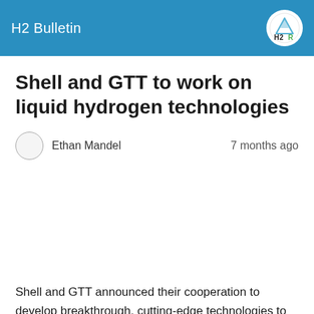H2 Bulletin
Shell and GTT to work on liquid hydrogen technologies
Ethan Mandel    7 months ago
Shell and GTT announced their cooperation to develop breakthrough, cutting-edge technologies to enable the transportation of liquid hydrogen (LH2).